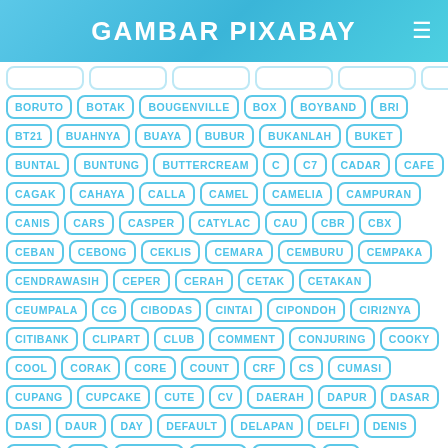GAMBAR PIXABAY
BORUTO, BOTAK, BOUGENVILLE, BOX, BOYBAND, BRI
BT21, BUAHNYA, BUAYA, BUBUR, BUKANLAH, BUKET
BUNTAL, BUNTUNG, BUTTERCREAM, C, C7, CADAR, CAFE
CAGAK, CAHAYA, CALLA, CAMEL, CAMELIA, CAMPURAN
CANIS, CARS, CASPER, CATYLAC, CAU, CBR, CBX
CEBAN, CEBONG, CEKLIS, CEMARA, CEMBURU, CEMPAKA
CENDRAWASIH, CEPER, CERAH, CETAK, CETAKAN
CEUMPALA, CG, CIBODAS, CINTAI, CIPONDOH, CIRI2NYA
CITIBANK, CLIPART, CLUB, COMMENT, CONJURING, COOKY
COOL, CORAK, CORE, COUNT, CRF, CS, CUMASI
CUPANG, CUPCAKE, CUTE, CV, DAERAH, DAPUR, DASAR
DASI, DAUR, DAY, DEFAULT, DELAPAN, DELFI, DENIS
DEPAN, DER, DERMULI, DETAIL, DIASAMI, ...